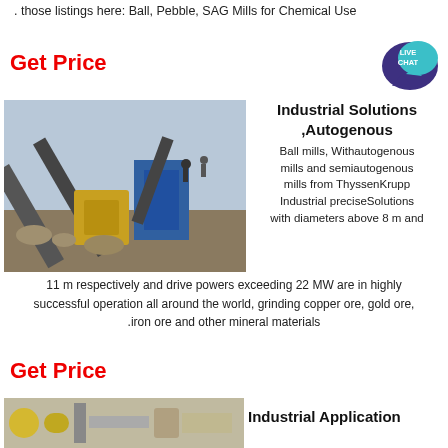. those listings here: Ball, Pebble, SAG Mills for Chemical Use
Get Price
[Figure (photo): Industrial mining/crushing equipment site with conveyor belts and machinery outdoors]
Industrial Solutions ,Autogenous
Ball mills, Withautogenous mills and semiautogenous mills from ThyssenKrupp Industrial preciseSolutions with diameters above 8 m and
11 m respectively and drive powers exceeding 22 MW are in highly successful operation all around the world, grinding copper ore, gold ore, iron ore and other mineral materials.
Get Price
[Figure (photo): Industrial equipment with yellow machinery and pipes]
Industrial Application